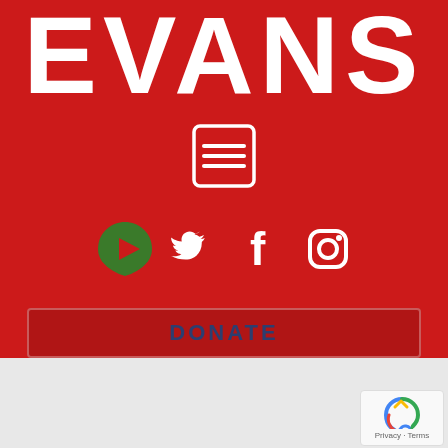EVANS
[Figure (logo): Menu/hamburger icon in white square outline on red background]
[Figure (logo): Social media icons: Rumble (green), Twitter (white bird), Facebook (white f), Instagram (white camera) on red background]
[Figure (other): DONATE button in darker red rectangle]
Category: News
[Figure (logo): reCAPTCHA badge with Privacy - Terms text]